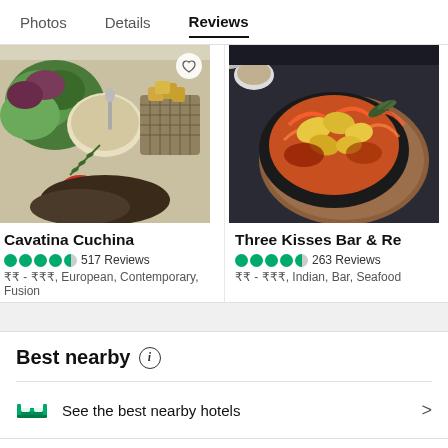Photos   Details   Reviews
[Figure (photo): Food photo showing salad, cream soup, fried potatoes in a basket, rosemary and red pepper on white surface for Cavatina Cuchina restaurant]
[Figure (photo): Food photo showing Korean or Indian style dish with sauce on a wooden board for Three Kisses Bar & Restaurant]
Cavatina Cuchina
517 Reviews
₹₹ - ₹₹₹, European, Contemporary, Fusion
Three Kisses Bar & Re
263 Reviews
₹₹ - ₹₹₹, Indian, Bar, Seafood
Best nearby ⓘ
See the best nearby hotels